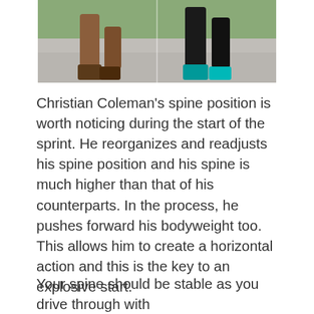[Figure (photo): Cropped photo showing the legs and feet of sprinters during the start of a sprint race, showing multiple runners' legs and shoes from a low angle.]
Christian Coleman's spine position is worth noticing during the start of the sprint. He reorganizes and readjusts his spine position and his spine is much higher than that of his counterparts. In the process, he pushes forward his bodyweight too. This allows him to create a horizontal action and this is the key to an explosive start.
Your spine should be stable as you drive through with